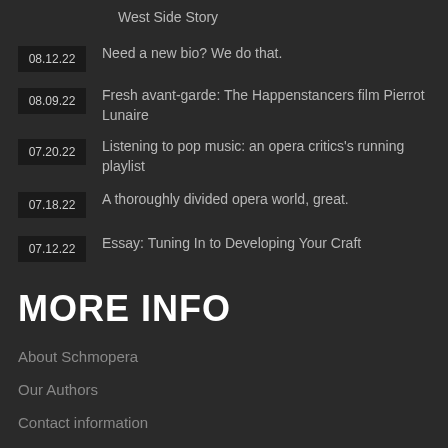West Side Story
08.12.22 – Need a new bio? We do that.
08.09.22 – Fresh avant-garde: The Happenstancers film Pierrot Lunaire
07.20.22 – Listening to pop music: an opera critics's running playlist
07.18.22 – A thoroughly divided opera world, great.
07.12.22 – Essay: Tuning In to Developing Your Craft
MORE INFO
About Schmopera
Our Authors
Contact information